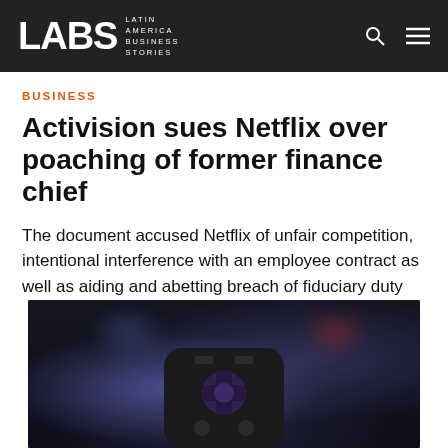LABS Latin America Business Stories
BUSINESS
Activision sues Netflix over poaching of former finance chief
The document accused Netflix of unfair competition, intentional interference with an employee contract as well as aiding and abetting breach of fiduciary duty
[Figure (photo): Close-up photo of a dark remote control (likely Roku or streaming device) in the foreground, with blurred TV screens and colorful display in the background.]